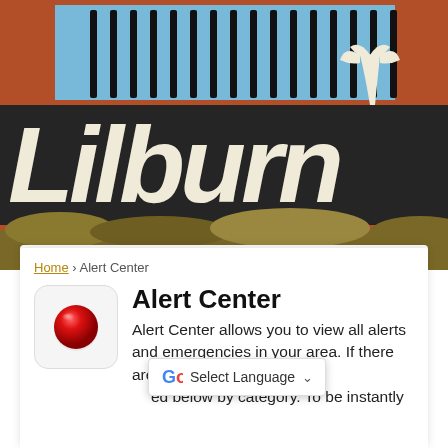[Figure (photo): Photo of a Lilburn city sign with white cursive 'Lilburn' text on a dark background, iron fence and brick wall visible, with foliage at the bottom]
Home › Alert Center
Alert Center
Alert Center allows you to view all alerts and emergencies in your area. If there are alerts or emergencies they will be listed below by category. To be instantly
[Figure (screenshot): Google Translate 'Select Language' dropdown widget]